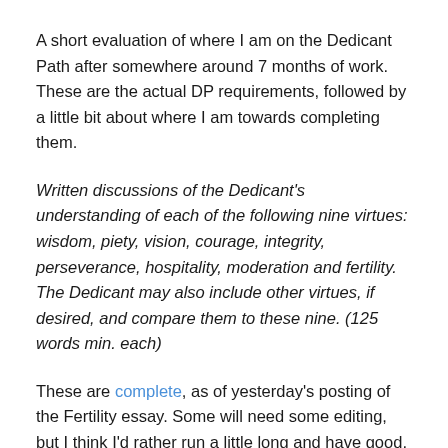A short evaluation of where I am on the Dedicant Path after somewhere around 7 months of work. These are the actual DP requirements, followed by a little bit about where I am towards completing them.
Written discussions of the Dedicant's understanding of each of the following nine virtues: wisdom, piety, vision, courage, integrity, perseverance, hospitality, moderation and fertility. The Dedicant may also include other virtues, if desired, and compare them to these nine. (125 words min. each)
These are complete, as of yesterday's posting of the Fertility essay. Some will need some editing, but I think I'd rather run a little long and have good, real life examples than cut out the meat of the essay just to make it fit the word count.